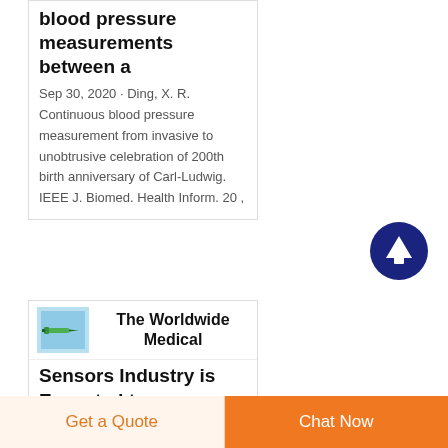blood pressure measurements between a
Sep 30, 2020 · Ding, X. R. Continuous blood pressure measurement from invasive to unobtrusive celebration of 200th birth anniversary of Carl-Ludwig. IEEE J. Biomed. Health Inform. 20 ,
[Figure (illustration): Scroll-to-top button: dark navy blue circle with white upward arrow]
[Figure (photo): Small thumbnail image: medical syringe/needle on blue background]
The Worldwide Medical Sensors Industry is Expected to